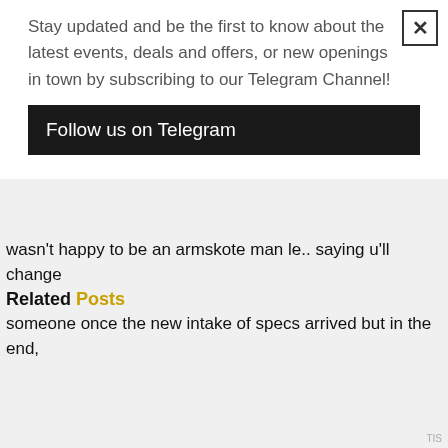Stay updated and be the first to know about the latest events, deals and offers, or new openings in town by subscribing to our Telegram Channel!
Follow us on Telegram
wasn't happy to be an armskote man le.. saying u'll change
Related Posts
someone once the new intake of specs arrived but in the end,